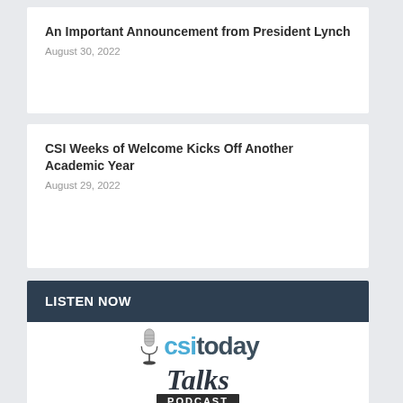An Important Announcement from President Lynch
August 30, 2022
CSI Weeks of Welcome Kicks Off Another Academic Year
August 29, 2022
LISTEN NOW
[Figure (logo): CSI Today Talks Podcast logo with microphone image and text 'Season 2 Coming August 2022']